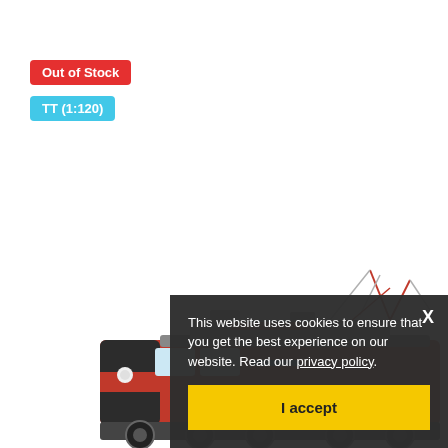Out of Stock
TT (1:120)
[Figure (photo): Model train locomotive, red and dark colored, side view, on white background]
This website uses cookies to ensure that you get the best experience on our website. Read our privacy policy.
I accept